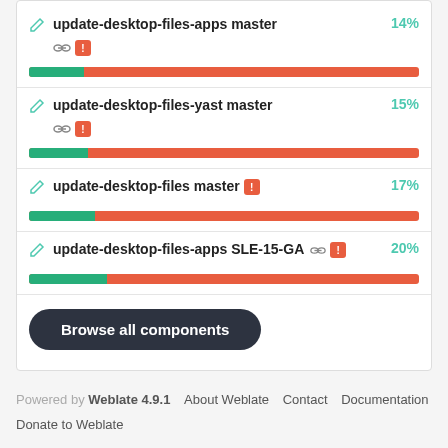update-desktop-files-apps master 14%
[Figure (bar-chart): update-desktop-files-apps master]
update-desktop-files-yast master 15%
[Figure (bar-chart): update-desktop-files-yast master]
update-desktop-files master 17%
[Figure (bar-chart): update-desktop-files master]
update-desktop-files-apps SLE-15-GA 20%
[Figure (bar-chart): update-desktop-files-apps SLE-15-GA]
Browse all components
Powered by Weblate 4.9.1   About Weblate   Contact   Documentation
Donate to Weblate